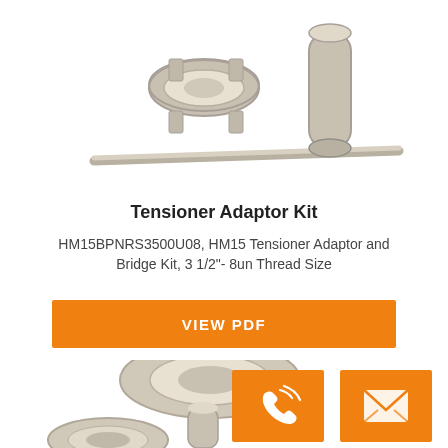[Figure (photo): Photo of Tensioner Adaptor Kit components: a ring/collar bracket, a cylindrical pin, and a long metal rod, all in silver/nickel finish, on white background]
Tensioner Adaptor Kit
HM15BPNRS3500U08, HM15 Tensioner Adaptor and Bridge Kit, 3 1/2"- 8un Thread Size
VIEW PDF
[Figure (photo): Photo of ring/collar adaptor components in silver/nickel finish, partially visible at bottom of page, with orange phone contact button and orange email contact button overlaid]